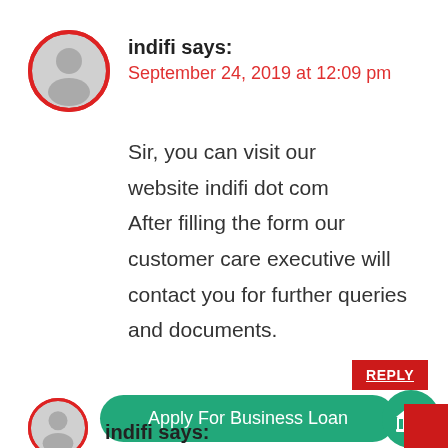[Figure (illustration): Grey avatar/person icon with red circular border]
indifi says:
September 24, 2019 at 12:09 pm
Sir, you can visit our website indifi dot com After filling the form our customer care executive will contact you for further queries and documents.
REPLY
Apply For Business Loan
[Figure (illustration): Green circle with white bank/institution icon]
indifi says: